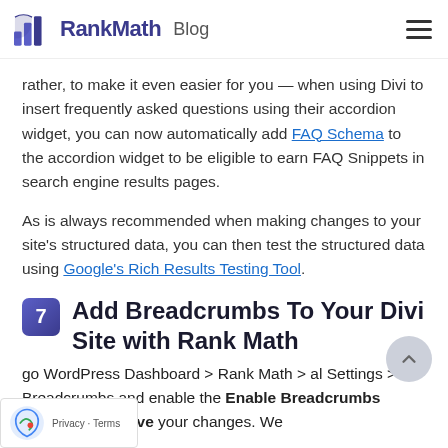RankMath Blog
rather, to make it even easier for you — when using Divi to insert frequently asked questions using their accordion widget, you can now automatically add FAQ Schema to the accordion widget to be eligible to earn FAQ Snippets in search engine results pages.
As is always recommended when making changes to your site's structured data, you can then test the structured data using Google's Rich Results Testing Tool.
7 Add Breadcrumbs To Your Divi Site with Rank Math
go WordPress Dashboard > Rank Math > al Settings > Breadcrumbs and enable the Enable Breadcrumbs function and Save your changes. We